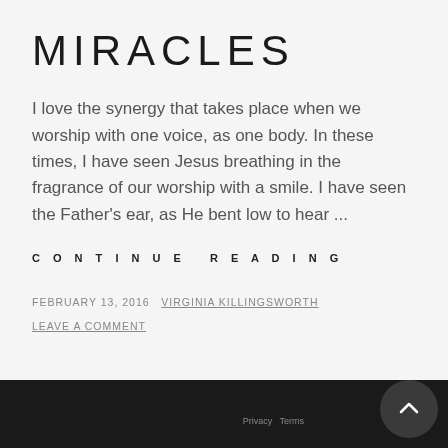MIRACLES
I love the synergy that takes place when we worship with one voice, as one body.  In these times, I have seen Jesus breathing in the fragrance of our worship with a smile.  I have seen the Father's ear, as He bent low to hear ...
CONTINUE READING
FEBRUARY 13, 2016  VIRGINIA KILLINGSWORTH
LEAVE A COMMENT
Privacy  Terms